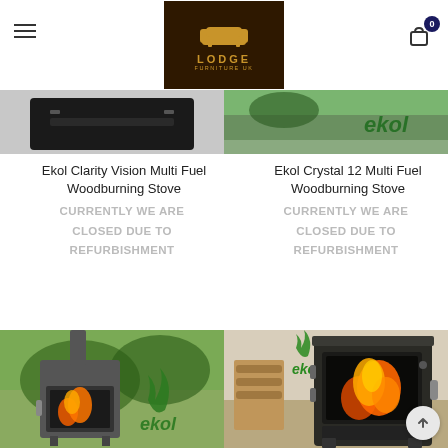Lodge Furniture UK — navigation header with logo and cart
[Figure (photo): Ekol Clarity Vision Multi Fuel Woodburning Stove — top portion of black stove unit, partially cropped]
[Figure (photo): Ekol Crystal 12 Multi Fuel Woodburning Stove — partially cropped photo with ekol branding visible]
Ekol Clarity Vision Multi Fuel Woodburning Stove
Ekol Crystal 12 Multi Fuel Woodburning Stove
CURRENTLY WE ARE CLOSED DUE TO REFURBISHMENT
CURRENTLY WE ARE CLOSED DUE TO REFURBISHMENT
[Figure (photo): Ekol wood burning stove outdoors in garden setting with green flame logo and ekol branding]
[Figure (photo): Ekol stove indoors showing orange flames through glass door with ekol logo]